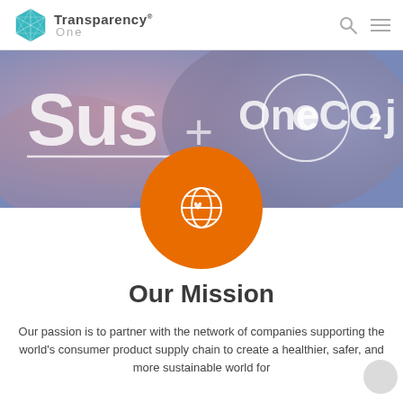Transparency One
[Figure (screenshot): Banner image with blurred purple/mauve background showing partial text 'Sus' with a line underneath, a plus sign, and a circular icon resembling OneCO2j logo on the right]
[Figure (illustration): Orange circle with white globe/earth icon inside]
Our Mission
Our passion is to partner with the network of companies supporting the world's consumer product supply chain to create a healthier, safer, and more sustainable world for